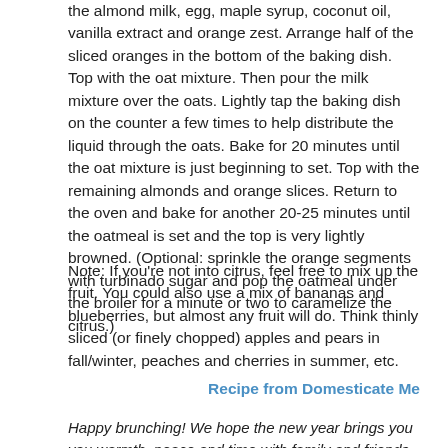the almond milk, egg, maple syrup, coconut oil, vanilla extract and orange zest. Arrange half of the sliced oranges in the bottom of the baking dish. Top with the oat mixture. Then pour the milk mixture over the oats. Lightly tap the baking dish on the counter a few times to help distribute the liquid through the oats. Bake for 20 minutes until the oat mixture is just beginning to set. Top with the remaining almonds and orange slices. Return to the oven and bake for another 20-25 minutes until the oatmeal is set and the top is very lightly browned. (Optional: sprinkle the orange segments with turbinado sugar and pop the oatmeal under the broiler for a minute or two to caramelize the citrus.)
Note: If you're not into citrus, feel free to mix up the fruit. You could also use a mix of bananas and blueberries, but almost any fruit will do. Think thinly sliced (or finely chopped) apples and pears in fall/winter, peaches and cherries in summer, etc.
Recipe from Domesticate Me
Happy brunching! We hope the new year brings you you warmth, peace and time with family and friends.